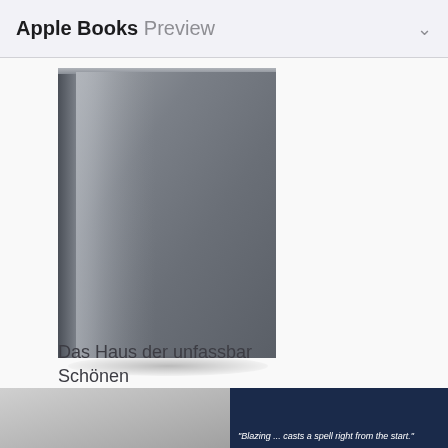Apple Books Preview
[Figure (illustration): Book cover — gray gradient hardcover book with subtle spine detail]
Das Haus der unfassbar Schönen
2019
Customers Also Bought
See All
[Figure (photo): Two partially visible book cover thumbnails at the bottom of the screen]